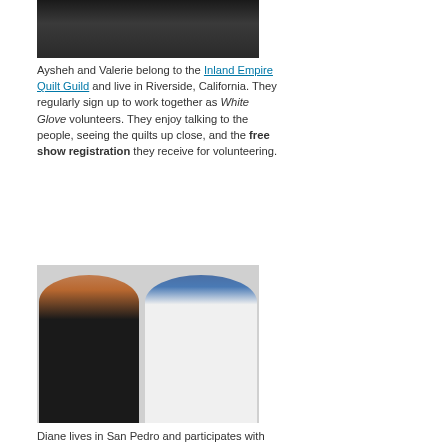[Figure (photo): Top portion of a photo showing dark background, appears to be the bottom portion of a previous photo of people at a quilt show]
Aysheh and Valerie belong to the Inland Empire Quilt Guild and live in Riverside, California. They regularly sign up to work together as White Glove volunteers. They enjoy talking to the people, seeing the quilts up close, and the free show registration they receive for volunteering.
[Figure (photo): Two women standing together and smiling. The woman on the left has red hair and is wearing a black jacket. The woman on the right has blue hair and glasses and is wearing a white shirt.]
Diane lives in San Pedro and participates with the